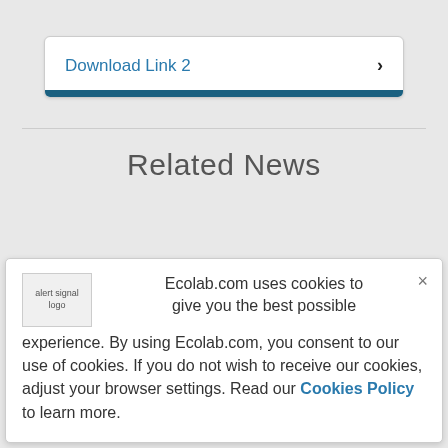Download Link 2 ›
Related News
[Figure (screenshot): Cookie consent popup with alert signal logo placeholder, close button (×), and cookie policy text.]
Ecolab.com uses cookies to give you the best possible experience. By using Ecolab.com, you consent to our use of cookies. If you do not wish to receive our cookies, adjust your browser settings. Read our Cookies Policy to learn more.